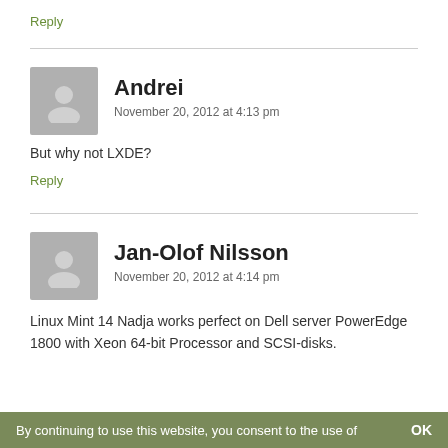Reply
Andrei
November 20, 2012 at 4:13 pm
But why not LXDE?
Reply
Jan-Olof Nilsson
November 20, 2012 at 4:14 pm
Linux Mint 14 Nadja works perfect on Dell server PowerEdge 1800 with Xeon 64-bit Processor and SCSI-disks.
By continuing to use this website, you consent to the use of   OK